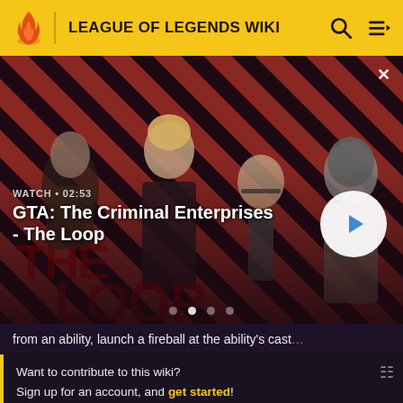LEAGUE OF LEGENDS WIKI
[Figure (screenshot): Video banner for 'GTA: The Criminal Enterprises - The Loop' showing four game characters on a diagonal red and dark striped background. Shows WATCH • 02:53 label, a play button on the right, and The Loop logo text.]
from an ability, launch a fireball at the ability's cast
Want to contribute to this wiki?
Sign up for an account, and get started!
You can even turn off ads in your preferences.